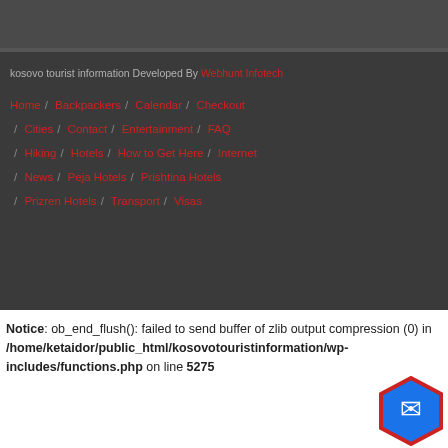kosovo tourist information Developed By Webhunt Infotech
Home / Backpackers / Calendar / Checkout / Cities / Contact / Entertainment / FAQ / Hiking / Hotels / How to Get Here / Internet / News / Peja Hotels / Prishtina Hotels / Prizren Hotels / Transport / Visas
Notice: ob_end_flush(): failed to send buffer of zlib output compression (0) in /home/ketaidor/public_html/kosovotouristinformation/wp-includes/functions.php on line 5275